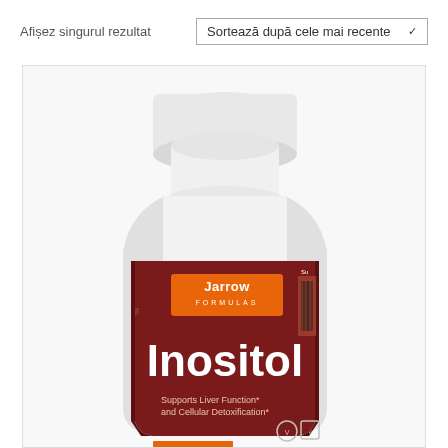Afișez singurul rezultat
Sortează după cele mai recente
[Figure (photo): Jarrow Formulas Inositol supplement bottle with dark red/maroon label. Label shows 'Jarrow FORMULAS' in orange rectangle at top, large white text 'Inositol' in center, and smaller text 'Supports Liver Function* and Cellular Detoxification*' at bottom. White bottle cap visible at top. Vegan and other certification icons at bottom right.]